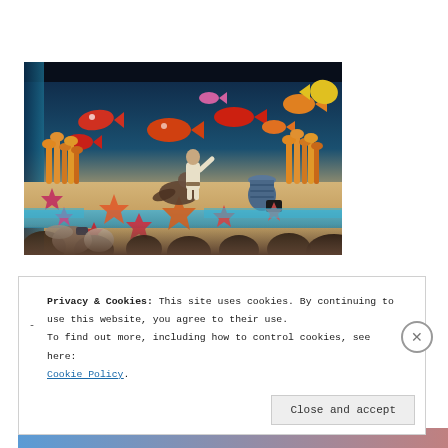[Figure (photo): A sea lion show at an aquarium or marine park. A trainer in a white outfit performs with a sea lion on a sandy stage decorated with colorful fish cutouts on a blue ocean-themed backdrop, coral decorations, and starfish. The audience, including children, watches from the foreground.]
Privacy & Cookies: This site uses cookies. By continuing to use this website, you agree to their use.
To find out more, including how to control cookies, see here:
Cookie Policy
Close and accept